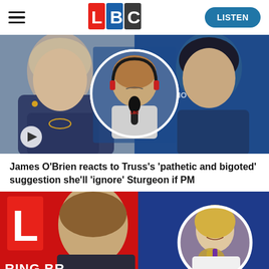[Figure (logo): LBC radio logo with colored letter blocks: L red, B blue, C black/grey on white background]
[Figure (photo): News article thumbnail showing Liz Truss on the left, Nicola Sturgeon on the right, and a circular inset of James O'Brien at a microphone in an LBC studio. A play button is visible at the bottom left.]
James O'Brien reacts to Truss's 'pathetic and bigoted' suggestion she'll 'ignore' Sturgeon if PM
[Figure (photo): News article thumbnail showing a male presenter on the left side against an LBC red background, and a circular inset of a female footballer holding a trophy on the right side. Partial text 'RING BR' visible at bottom.]